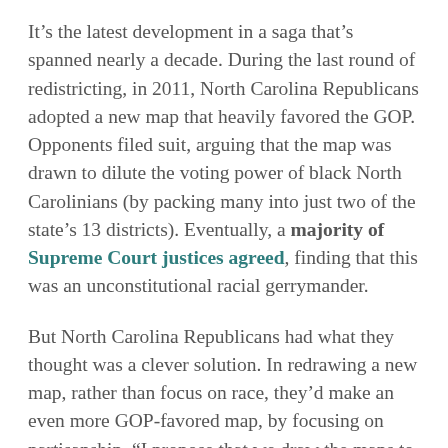It's the latest development in a saga that's spanned nearly a decade. During the last round of redistricting, in 2011, North Carolina Republicans adopted a new map that heavily favored the GOP. Opponents filed suit, arguing that the map was drawn to dilute the voting power of black North Carolinians (by packing many into just two of the state's 13 districts). Eventually, a majority of Supreme Court justices agreed, finding that this was an unconstitutional racial gerrymander.
But North Carolina Republicans had what they thought was a clever solution. In redrawing a new map, rather than focus on race, they'd make an even more GOP-favored map, by focusing on partisanship. "I propose that we draw the maps to give a partisan